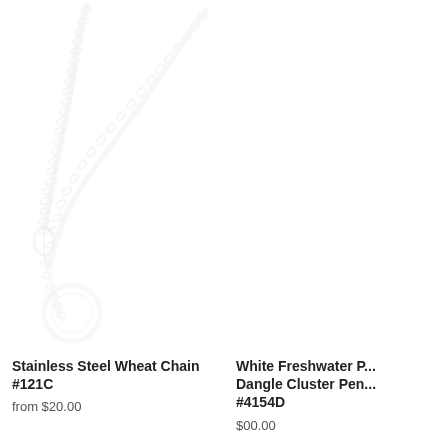[Figure (photo): Product photo of a stainless steel wheat chain necklace with circular pendant, shown on white background, very faint/washed out]
Stainless Steel Wheat Chain #121C
from $20.00
[Figure (photo): Partial product photo of White Freshwater Pearl Dangle Cluster Pendant, cut off at right edge, very faint on white background]
White Freshwater P... Dangle Cluster Pen... #4154D
$00.00